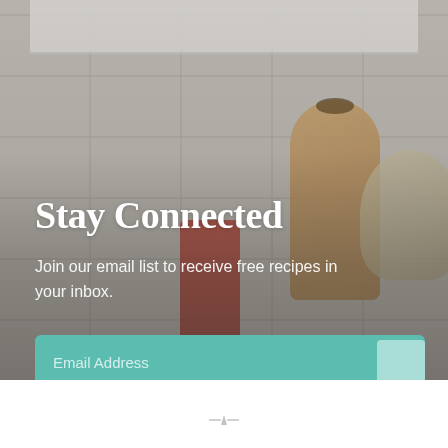[Figure (photo): Kitchen background photo showing white subway tile backsplash, wooden cutting boards, red kitchen utensil holder with spatulas, and decorative plate/bowl, with a dark gradient overlay on the lower portion.]
Stay Connected
Join our email list to receive free recipes in your inbox.
Email Address